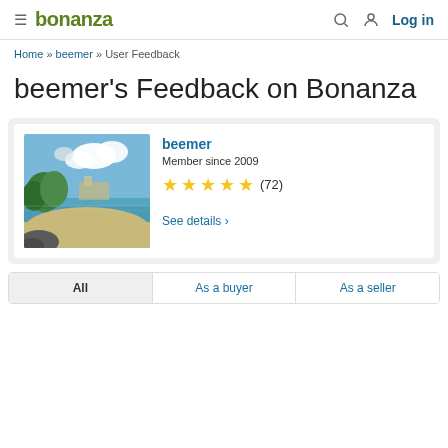bonanza | Log in
Home » beemer » User Feedback
beemer's Feedback on Bonanza
[Figure (photo): Beemer's profile card with beach photo, username 'beemer', Member since 2009, 5-star rating (72 reviews), and See details link]
All | As a buyer | As a seller